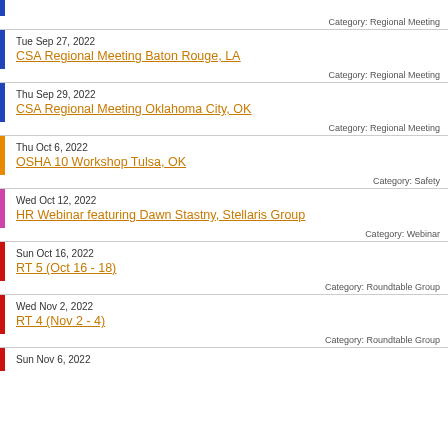Category: Regional Meeting
Tue Sep 27, 2022 | CSA Regional Meeting Baton Rouge, LA | Category: Regional Meeting
Thu Sep 29, 2022 | CSA Regional Meeting Oklahoma City, OK | Category: Regional Meeting
Thu Oct 6, 2022 | OSHA 10 Workshop Tulsa, OK | Category: Safety
Wed Oct 12, 2022 | HR Webinar featuring Dawn Stastny, Stellaris Group | Category: Webinar
Sun Oct 16, 2022 | RT 5 (Oct 16 - 18) | Category: Roundtable Group
Wed Nov 2, 2022 | RT 4 (Nov 2 - 4) | Category: Roundtable Group
Sun Nov 6, 2022